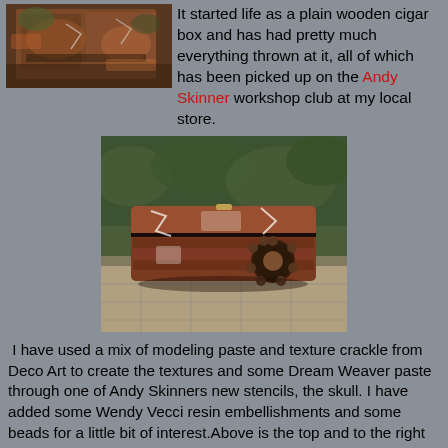[Figure (photo): Close-up photo of the top of a decorated wooden cigar box with rusty, textured, multi-colored surfaces in browns, reds, and greens.]
It started life as a plain wooden cigar box and has had pretty much everything thrown at it, all of which has been picked up on the Andy Skinner workshop club at my local store.
[Figure (photo): Photo of the front of a decorated wooden cigar box resting on a tiled/stone surface. The box has textured, distressed surfaces in dark reds and browns with white crackle effects and a decorative round embellishment.]
I have used a mix of modeling paste and texture crackle from Deco Art to create the textures and some Dream Weaver paste through one of Andy Skinners new stencils, the skull. I have added some Wendy Vecci resin embellishments and some beads for a little bit of interest.Above is the top and to the right is the front of the